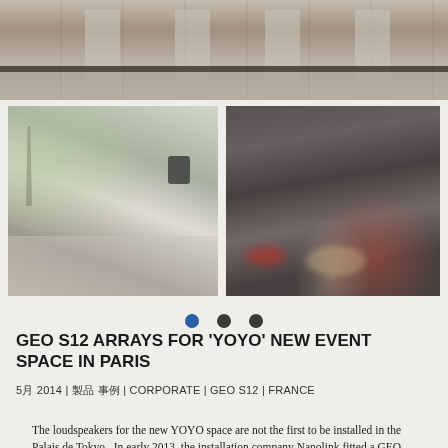[Figure (photo): Top banner photo of an indoor/outdoor restaurant or event space with tables and chairs, railing visible, neutral tones]
[Figure (photo): Left photo showing outdoor terrace seating area with Eiffel Tower visible in background, large umbrella and speaker on right]
[Figure (photo): Right photo showing dark interior event/club space with ambient lighting, red and warm lights]
[Figure (infographic): Three navigation dots: blue filled circle, dark grey filled circle, dark grey filled circle]
GEO S12 ARRAYS FOR 'YOYO' NEW EVENT SPACE IN PARIS
5月 2014 | 製品 事例 | CORPORATE | GEO S12 | FRANCE
The loudspeakers for the new YOYO space are not the first to be installed in the Palais de Tokyo.  In early 2013, the installation company Nanolink fitted a GEO S8